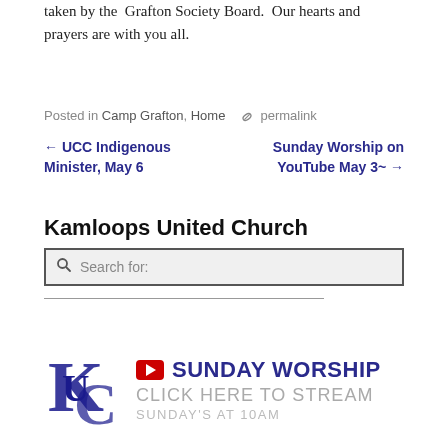taken by the Grafton Society Board.  Our hearts and prayers are with you all.
Posted in Camp Grafton, Home  🔗 permalink
← UCC Indigenous Minister, May 6    Sunday Worship on YouTube May 3~ →
Kamloops United Church
[Figure (screenshot): Search box with magnifying glass icon and placeholder text 'Search for:']
[Figure (logo): Kamloops United Church logo with KUC monogram, YouTube play button icon, text 'SUNDAY WORSHIP', 'CLICK HERE TO STREAM', 'SUNDAY'S AT 10AM']